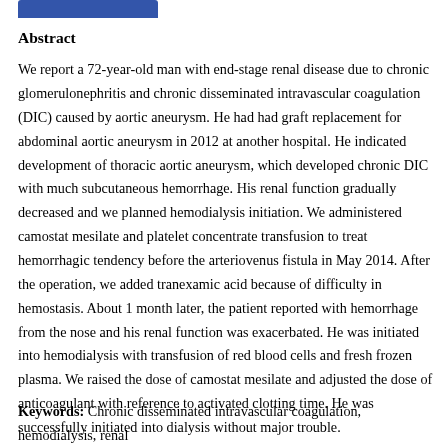[Figure (other): Blue rounded rectangle header bar at top left]
Abstract
We report a 72-year-old man with end-stage renal disease due to chronic glomerulonephritis and chronic disseminated intravascular coagulation (DIC) caused by aortic aneurysm. He had had graft replacement for abdominal aortic aneurysm in 2012 at another hospital. He indicated development of thoracic aortic aneurysm, which developed chronic DIC with much subcutaneous hemorrhage. His renal function gradually decreased and we planned hemodialysis initiation. We administered camostat mesilate and platelet concentrate transfusion to treat hemorrhagic tendency before the arteriovenus fistula in May 2014. After the operation, we added tranexamic acid because of difficulty in hemostasis. About 1 month later, the patient reported with hemorrhage from the nose and his renal function was exacerbated. He was initiated into hemodialysis with transfusion of red blood cells and fresh frozen plasma. We raised the dose of camostat mesilate and adjusted the dose of anticoagulant with reference to activated clotting time. He was successfully initiated into dialysis without major trouble.
Keywords: Chronic disseminated intravascular coagulation, hemodialysis, renal failure